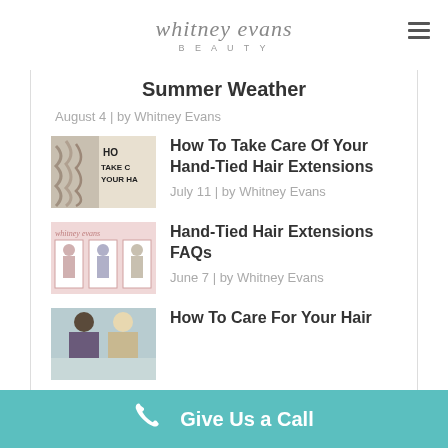[Figure (logo): Whitney Evans Beauty logo in script font with hamburger menu icon]
Summer Weather
August 4 | by Whitney Evans
[Figure (photo): Thumbnail image for How To Take Care Of Your Hand-Tied Hair Extensions post]
How To Take Care Of Your Hand-Tied Hair Extensions
July 11 | by Whitney Evans
[Figure (photo): Thumbnail image for Hand-Tied Hair Extensions FAQs post]
Hand-Tied Hair Extensions FAQs
June 7 | by Whitney Evans
[Figure (photo): Thumbnail image for How To Care For Your Hair post]
How To Care For Your Hair
Give Us a Call